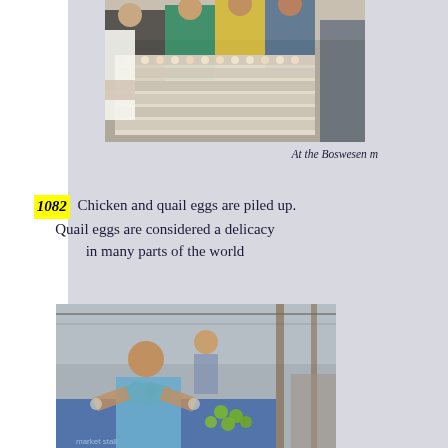[Figure (photo): Market scene with people and stacked egg trays; chicken and quail eggs piled up at a market stall]
At the Boswesen m
1082  Chicken and quail eggs are piled up. Quail eggs are considered a delicacy in many parts of the world
[Figure (photo): Woman sitting at a market stall with green produce and items spread on a blue cloth]